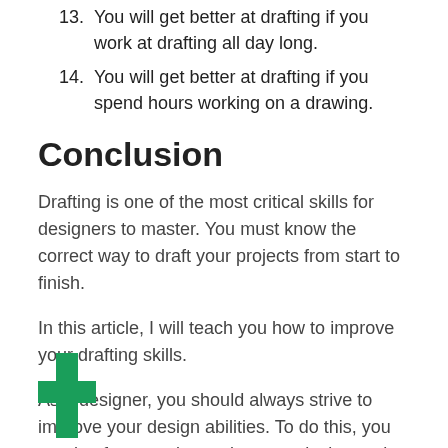13. You will get better at drafting if you work at drafting all day long.
14. You will get better at drafting if you spend hours working on a drawing.
Conclusion
Drafting is one of the most critical skills for designers to master. You must know the correct way to draft your projects from start to finish.
In this article, I will teach you how to improve your drafting skills.
As a designer, you should always strive to improve your design abilities. To do this, you need to focus on improving your design and drafting skills.
[Figure (logo): Green cross/plus icon in lower left corner]